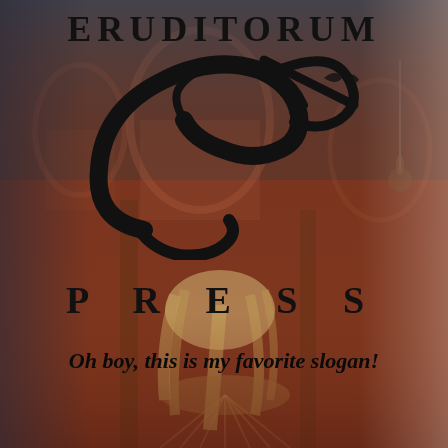[Figure (illustration): Book cover background: a fantasy/artistic illustration showing a figure with long blonde hair seen from behind, seated near wooden architectural elements with arched windows and warm reddish-brown tones. The image is overlaid with a dark grayish-blue to reddish-brown gradient.]
ERUDITORUM
[Figure (logo): Eruditorum Press logo: a stylized calligraphic 'EP' monogram in black, with flowing curved strokes forming a large E and P shape, with a diagonal slash/line through the top right portion.]
PRESS
Oh boy, this is my favorite slogan!